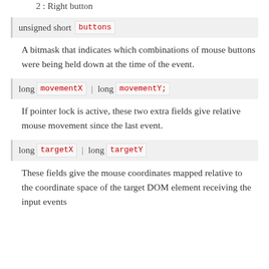2 : Right button
unsigned short buttons
A bitmask that indicates which combinations of mouse buttons were being held down at the time of the event.
long movementX | long movementY;
If pointer lock is active, these two extra fields give relative mouse movement since the last event.
long targetX | long targetY
These fields give the mouse coordinates mapped relative to the coordinate space of the target DOM element receiving the input events